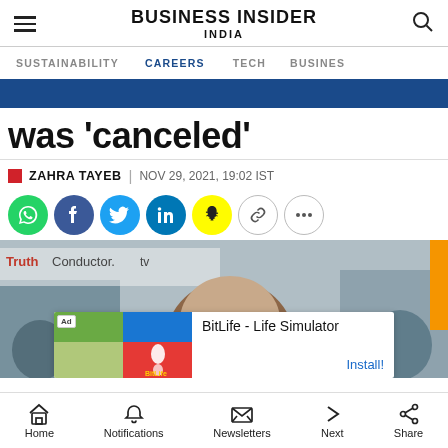BUSINESS INSIDER INDIA
SUSTAINABILITY | CAREERS | TECH | BUSINESS
was 'canceled'
ZAHRA TAYEB | NOV 29, 2021, 19:02 IST
[Figure (photo): Social share buttons: WhatsApp, Facebook, Twitter, LinkedIn, Snapchat, Link, More]
[Figure (photo): Outdoor protest scene with a person visible, TruthConductor.tv sign visible. An ad overlay for BitLife - Life Simulator with Install! button is shown.]
Home | Notifications | Newsletters | Next | Share